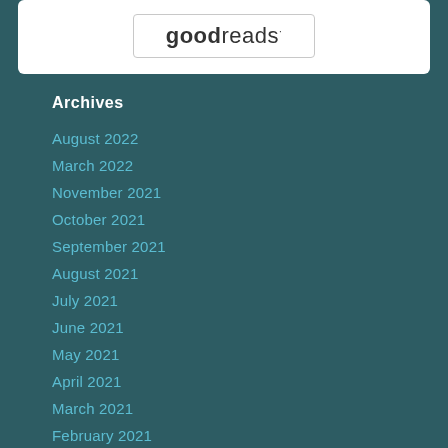[Figure (logo): Goodreads logo inside a rounded rectangle border, displayed on a white background card]
Archives
August 2022
March 2022
November 2021
October 2021
September 2021
August 2021
July 2021
June 2021
May 2021
April 2021
March 2021
February 2021